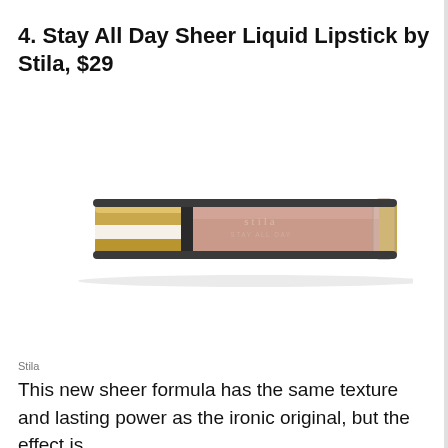4. Stay All Day Sheer Liquid Lipstick by Stila, $29
[Figure (photo): A Stila Stay All Day Sheer Liquid Lipstick tube. The tube has a gold cap on the left and a transparent/mauve-pink body showing the lipstick color inside, with gold trim. The Stila brand name is visible in small text on the product.]
Stila
This new sheer formula has the same texture and lasting power as the ironic original, but the effect is